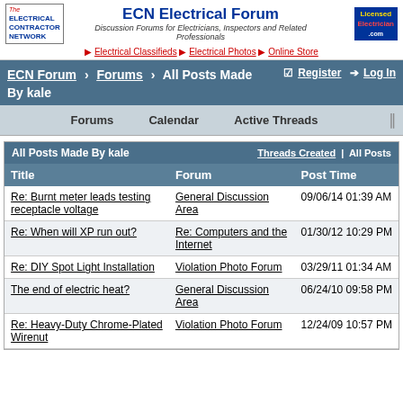ECN Electrical Forum — Discussion Forums for Electricians, Inspectors and Related Professionals
▶ Electrical Classifieds  ▶ Electrical Photos  ▶ Online Store
ECN Forum > Forums > All Posts Made By kale  ☑ Register  ➔ Log In
Forums   Calendar   Active Threads
| All Posts Made By kale |  | Threads Created | All Posts |
| --- | --- | --- |
| Title | Forum | Post Time |
| Re: Burnt meter leads testing receptacle voltage | General Discussion Area | 09/06/14 01:39 AM |
| Re: When will XP run out? | Re: Computers and the Internet | 01/30/12 10:29 PM |
| Re: DIY Spot Light Installation | Violation Photo Forum | 03/29/11 01:34 AM |
| The end of electric heat? | General Discussion Area | 06/24/10 09:58 PM |
| Re: Heavy-Duty Chrome-Plated Wirenut | Violation Photo Forum | 12/24/09 10:57 PM |